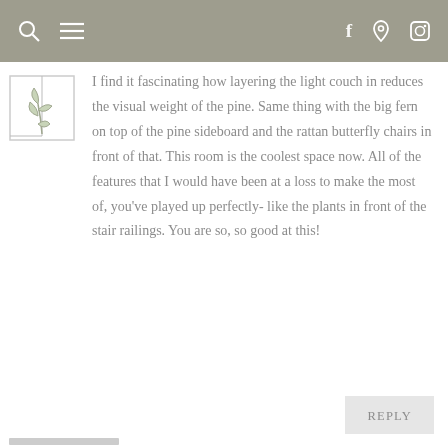Navigation bar with search, menu, facebook, pinterest, instagram icons
[Figure (illustration): Small botanical illustration of a plant with leaves inside a square frame — blog logo or avatar]
I find it fascinating how layering the light couch in reduces the visual weight of the pine. Same thing with the big fern on top of the pine sideboard and the rattan butterfly chairs in front of that. This room is the coolest space now. All of the features that I would have been at a loss to make the most of, you've played up perfectly- like the plants in front of the stair railings. You are so, so good at this!